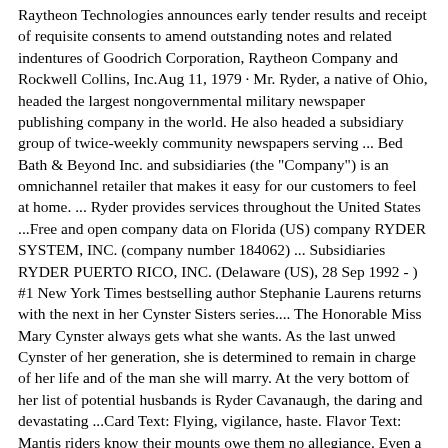Raytheon Technologies announces early tender results and receipt of requisite consents to amend outstanding notes and related indentures of Goodrich Corporation, Raytheon Company and Rockwell Collins, Inc.Aug 11, 1979 · Mr. Ryder, a native of Ohio, headed the largest nongovernmental military newspaper publishing company in the world. He also headed a subsidiary group of twice-weekly community newspapers serving ... Bed Bath & Beyond Inc. and subsidiaries (the "Company") is an omnichannel retailer that makes it easy for our customers to feel at home. ... Ryder provides services throughout the United States ...Free and open company data on Florida (US) company RYDER SYSTEM, INC. (company number 184062) ... Subsidiaries RYDER PUERTO RICO, INC. (Delaware (US), 28 Sep 1992 - ) #1 New York Times bestselling author Stephanie Laurens returns with the next in her Cynster Sisters series.... The Honorable Miss Mary Cynster always gets what she wants. As the last unwed Cynster of her generation, she is determined to remain in charge of her life and of the man she will marry. At the very bottom of her list of potential husbands is Ryder Cavanaugh, the daring and devastating ...Card Text: Flying, vigilance, haste. Flavor Text: Mantis riders know their mounts owe them no allegiance. Even a mantis ridden for years would consume a rider who loses focus for only a moment. Watermark: Jeskai. P/T: 3 / 3.If you are a life policyholder, please complete and return a Policy Service Form. Claims. Email. 877-242-2544. Automated Pay By Phone. 800-364-3400. Payment Support. Email. 888-242-8888.Fl...